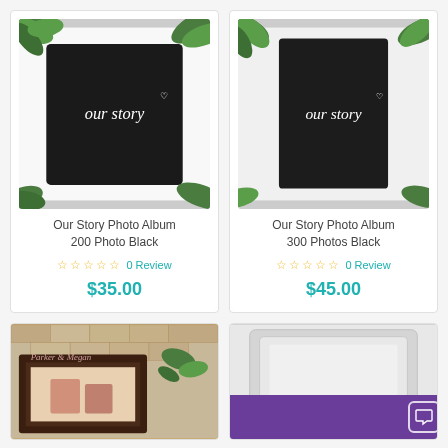[Figure (photo): Our Story Photo Album 200 Photo Black product image with black photo album and green leaves background]
Our Story Photo Album 200 Photo Black
☆ ☆ ☆ ☆ ☆ 0 Review
$35.00
[Figure (photo): Our Story Photo Album 300 Photos Black product image with black photo album and green leaves background]
Our Story Photo Album 300 Photos Black
☆ ☆ ☆ ☆ ☆ 0 Review
$45.00
[Figure (photo): Personalized photo frame with Parker & Megan text on dark wood frame]
[Figure (photo): White picture frame product partially visible]
Leave a message